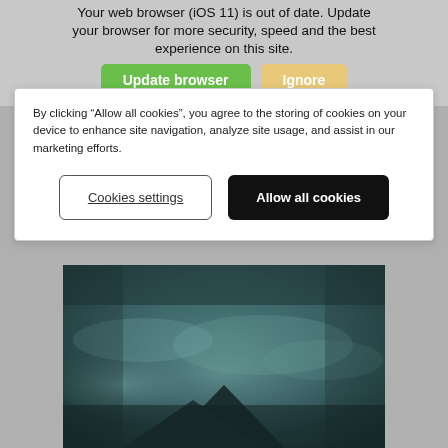Your web browser (iOS 11) is out of date. Update your browser for more security, speed and the best experience on this site.
Update browser | Ignore
By clicking “Allow all cookies”, you agree to the storing of cookies on your device to enhance site navigation, analyze site usage, and assist in our marketing efforts.
Cookies settings | Allow all cookies
[Figure (photo): Dark teal/greenish atmospheric photo showing a misty mountain silhouette against a cloudy background]